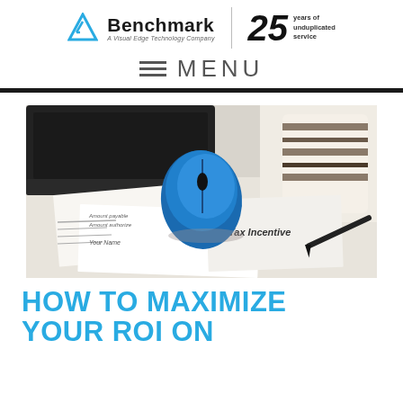Benchmark — A Visual Edge Technology Company | 25 years of unduplicated service
≡ MENU
[Figure (photo): Desk scene with a blue wireless mouse, a striped coffee mug, a laptop, scattered paper documents including one labeled 'Tax Incentive', and a pen resting on the papers.]
HOW TO MAXIMIZE YOUR ROI ON